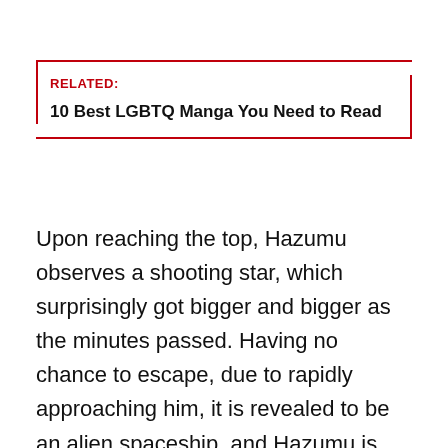RELATED:
10 Best LGBTQ Manga You Need to Read
Upon reaching the top, Hazumu observes a shooting star, which surprisingly got bigger and bigger as the minutes passed. Having no chance to escape, due to rapidly approaching him, it is revealed to be an alien spaceship, and Hazumu is killed by the crash. To correct the serious accident made, the aliens decide to rebuild Hazumu’s body, but in the process they change his gender, turning him into a woman.